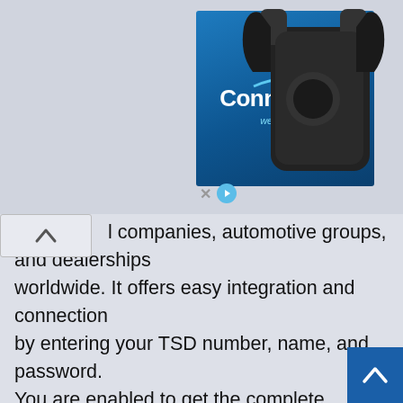[Figure (screenshot): Advertisement banner for 'Connection - we solve IT' showing a blue branded panel with the Connection logo and tagline, alongside an image of a black electronic device/clip. Below the ad is a close/play button row.]
l companies, automotive groups, and dealerships worldwide. It offers easy integration and connection by entering your TSD number, name, and password. You are enabled to get the complete information about customer pick up or drop off location to work accordingly. It provides the most secure and comfortable ride for customers and allows you to book and reserve your ride on desired date or time.
TSD RENTAL offers you to check vehicles' GPS location, fuel, or mileage data with the telematics capabilit